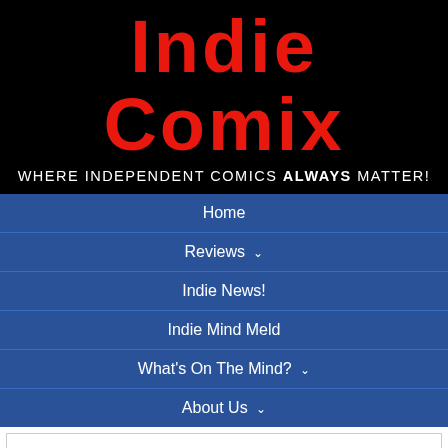Indie Comix
WHERE INDEPENDENT COMICS ALWAYS MATTER!
Home
Reviews ∨
Indie News!
Indie Mind Meld
What's On The Mind? ∨
About Us ∨
Mind Meld With Mad Cave Studios' Mark London!
1. Hello there! And
[Figure (photo): Partially visible photo of a person, likely Mark London]